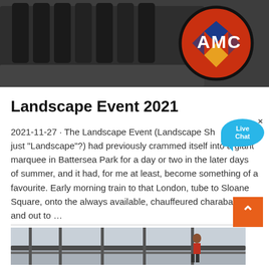[Figure (photo): Industrial machinery with AMC logo on a red circular component, dark metallic equipment on grey background]
Landscape Event 2021
2021-11-27 · The Landscape Event (Landscape Sh... is it just "Landscape"?) had previously crammed itself into a giant marquee in Battersea Park for a day or two in the later days of summer, and it had, for me at least, become something of a favourite. Early morning train to that London, tube to Sloane Square, onto the always available, chauffeured charabanc, and out to ...
[Figure (photo): Construction or industrial scene with scaffolding and workers on a rooftop or elevated structure]